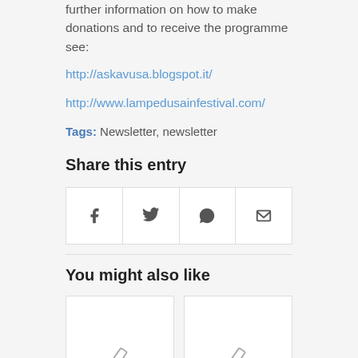further information on how to make donations and to receive the programme see:
http://askavusa.blogspot.it/
http://www.lampedusainfestival.com/
Tags: Newsletter, newsletter
Share this entry
[Figure (other): Share buttons row: Facebook, Twitter, WhatsApp, Email icons in bordered grid cells]
You might also like
[Figure (other): Two card placeholders side by side, each with a pencil/edit icon at the bottom center]